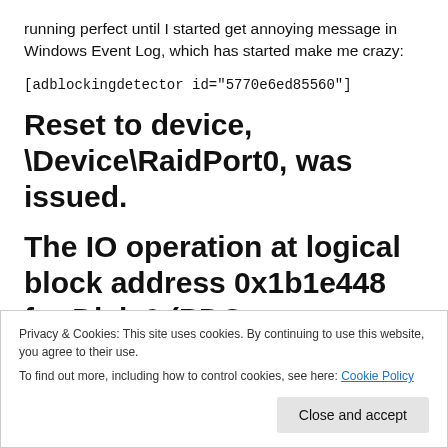running perfect until I started get annoying message in Windows Event Log, which has started make me crazy:
[adblockingdetector id="5770e6ed85560"]
Reset to device, \Device\RaidPort0, was issued.
The IO operation at logical block address 0x1b1e448 for Disk 0 (PDO name: \Device\00000037) was
Privacy & Cookies: This site uses cookies. By continuing to use this website, you agree to their use.
To find out more, including how to control cookies, see here: Cookie Policy
Close and accept